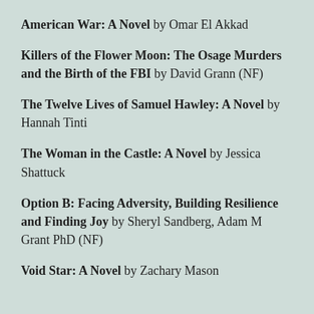American War: A Novel by Omar El Akkad
Killers of the Flower Moon: The Osage Murders and the Birth of the FBI by David Grann (NF)
The Twelve Lives of Samuel Hawley: A Novel by Hannah Tinti
The Woman in the Castle: A Novel by Jessica Shattuck
Option B: Facing Adversity, Building Resilience and Finding Joy by Sheryl Sandberg, Adam M Grant PhD (NF)
Void Star: A Novel by Zachary Mason